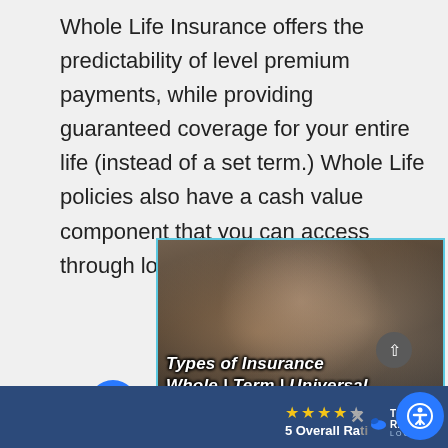Whole Life Insurance offers the predictability of level premium payments, while providing guaranteed coverage for your entire life (instead of a set term.) Whole Life policies also have a cash value component that you can access through loans or withdrawals.
[Figure (photo): A family photo showing a couple kissing their baby, with overlaid text reading 'Types of Insurance Whole | Term | Universal WHAT?']